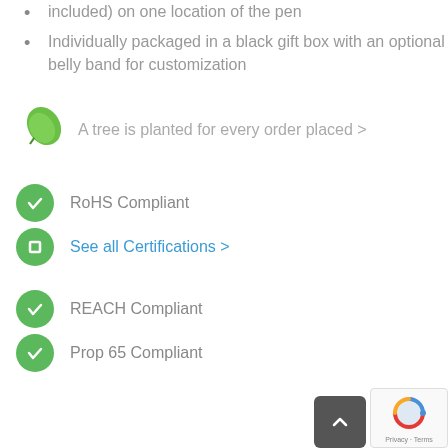included) on one location of the pen
Individually packaged in a black gift box with an optional belly band for customization
[Figure (illustration): Green leaf icon with text: A tree is planted for every order placed >]
[Figure (illustration): Green circle with white checkmark icon]
RoHS Compliant
[Figure (illustration): Green circle with white hollow square icon]
See all Certifications >
[Figure (illustration): Green circle with white checkmark icon]
REACH Compliant
[Figure (illustration): Green circle with white checkmark icon]
Prop 65 Compliant